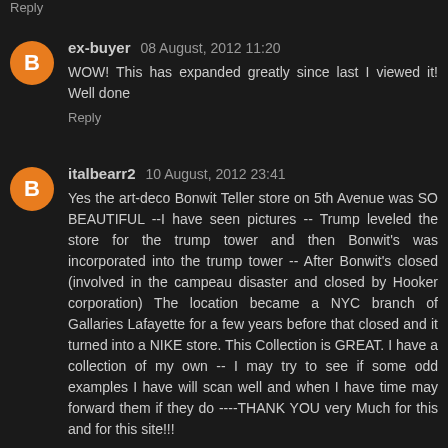Reply
ex-buyer 08 August, 2012 11:20
WOW! This has expanded greatly since last I viewed it! Well done
Reply
italbearr2 10 August, 2012 23:41
Yes the art-deco Bonwit Teller store on 5th Avenue was SO BEAUTIFUL --I have seen pictures -- Trump leveled the store for the trump tower and then Bonwit's was incorporated into the trump tower -- After Bonwit's closed (involved in the campeau disaster and closed by Hooker corporation) The location became a NYC branch of Gallaries Lafayette for a few years before that closed and it turned into a NIKE store. This Collection is GREAT. I have a collection of my own -- I may try to see if some odd examples I have will scan well and when I have time may forward them if they do ----THANK YOU very Much for this and for this site!!!